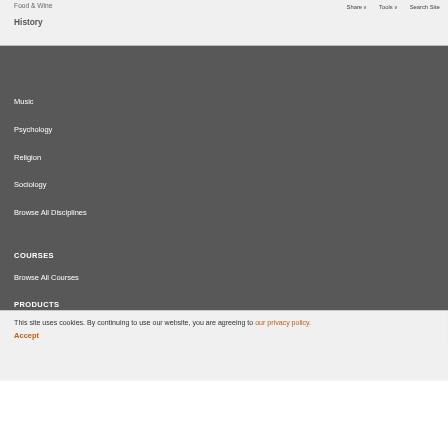Food & Wine
History
Share ∨   Tools ∨   Search Site
Music
Psychology
Religion
Sociology
Browse All Disciplines
COURSES
Browse All Courses
PRODUCTS
This site uses cookies. By continuing to use our website, you are agreeing to our privacy policy.
Accept
RESOURCES